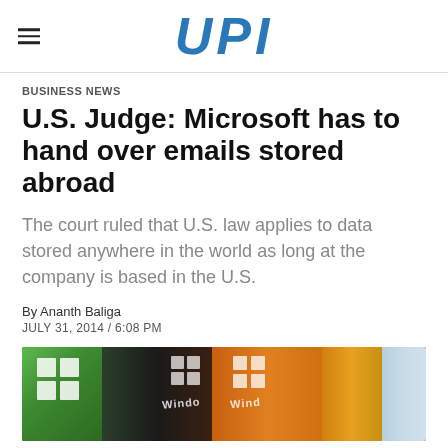UPI
BUSINESS NEWS
U.S. Judge: Microsoft has to hand over emails stored abroad
The court ruled that U.S. law applies to data stored anywhere in the world as long at the company is based in the U.S.
By Ananth Baliga
JULY 31, 2014 / 6:08 PM
[Figure (photo): Microsoft Windows software boxes/cases in green, brown, and orange colors with Windows logos visible]